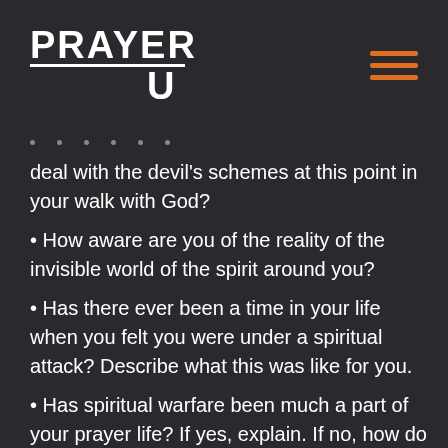PRAYER U
deal with the devil's schemes at this point in your walk with God?
• How aware are you of the reality of the invisible world of the spirit around you?
• Has there ever been a time in your life when you felt you were under a spiritual attack? Describe what this was like for you.
• Has spiritual warfare been much a part of your prayer life? If yes, explain. If no, how do you think understanding spiritual warfare will